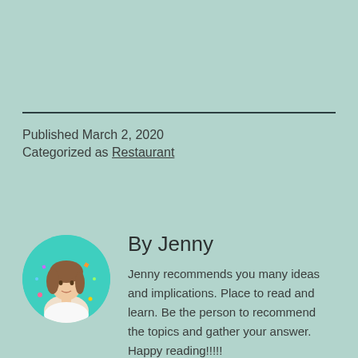Published March 2, 2020
Categorized as Restaurant
By Jenny
[Figure (photo): Circular profile photo of Jenny, a woman with long hair, against a teal background with confetti]
Jenny recommends you many ideas and implications. Place to read and learn. Be the person to recommend the topics and gather your answer. Happy reading!!!!!